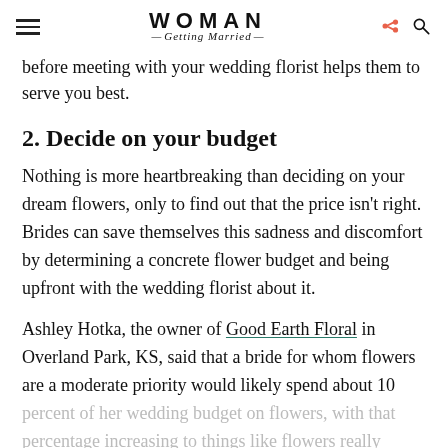WOMAN Getting Married
before meeting with your wedding florist helps them to serve you best.
2. Decide on your budget
Nothing is more heartbreaking than deciding on your dream flowers, only to find out that the price isn't right. Brides can save themselves this sadness and discomfort by determining a concrete flower budget and being upfront with the wedding florist about it.
Ashley Hotka, the owner of Good Earth Floral in Overland Park, KS, said that a bride for whom flowers are a moderate priority would likely spend about 10 percent of her wedding budget on flowers, with that percentage increasing to things like flowers really...